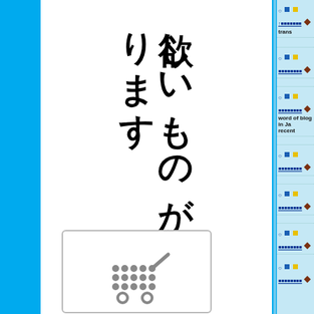欲しいものがきっと見つかります
[Figure (illustration): Shopping cart icon in a rounded rectangle box]
○■□ ↑ [garbled text] ? ? trans
○■□ [garbled text] ◆
○■□ [garbled text] ? ◆◆ word of blog in Ja recent
○■□ [garbled text] ◆
○■□ [garbled text] ◆
○■□ [garbled text] ◆
○ ■□ [garbled text] ? ◆◆